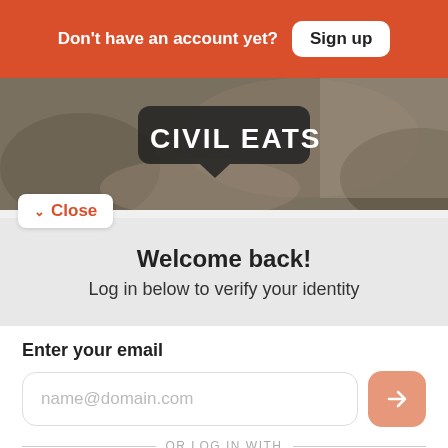Don't have an account yet? Sign up
[Figure (screenshot): Civil Eats website hero image with dark nature background and 'CIVIL EATS' text logo in white on a speech bubble]
Close
Welcome back!
Log in below to verify your identity
Enter your email
name@domain.com
OR LOG IN WITH
Facebook
Google